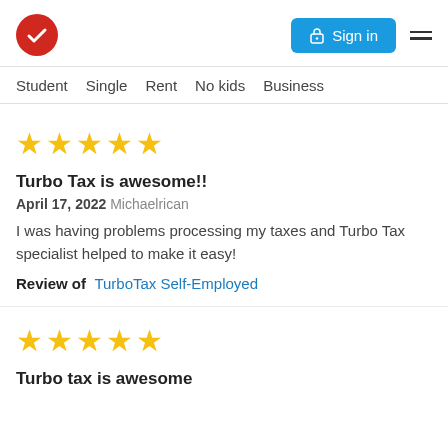TurboTax logo | Sign in | Menu
Student  Single  Rent  No kids  Business
[Figure (other): Five gold star rating]
Turbo Tax is awesome!!
April 17, 2022 Michaelrican
I was having problems processing my taxes and Turbo Tax specialist helped to make it easy!
Review of  TurboTax Self-Employed
[Figure (other): Five gold star rating]
Turbo tax is awesome